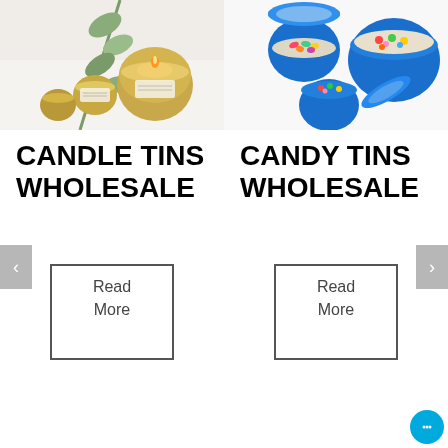[Figure (photo): Photo of gold candle tins with eucalyptus greenery on white background]
[Figure (photo): Photo of blue candy tins filled with colorful jelly beans or candy]
CANDLE TINS WHOLESALE
CANDY TINS WHOLESALE
Read More
Read More